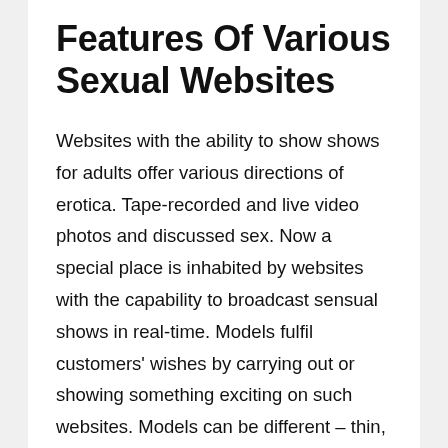Features Of Various Sexual Websites
Websites with the ability to show shows for adults offer various directions of erotica. Tape-recorded and live video photos and discussed sex. Now a special place is inhabited by websites with the capability to broadcast sensual shows in real-time. Models fulfil customers' wishes by carrying out or showing something exciting on such websites. Models can be different – thin, complete, European, Asian.